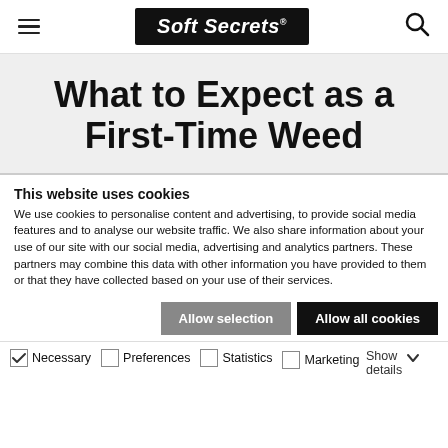Soft Secrets
What to Expect as a First-Time Weed
This website uses cookies
We use cookies to personalise content and advertising, to provide social media features and to analyse our website traffic. We also share information about your use of our site with our social media, advertising and analytics partners. These partners may combine this data with other information you have provided to them or that they have collected based on your use of their services.
Allow selection   Allow all cookies
✓ Necessary   Preferences   Statistics   Marketing   Show details